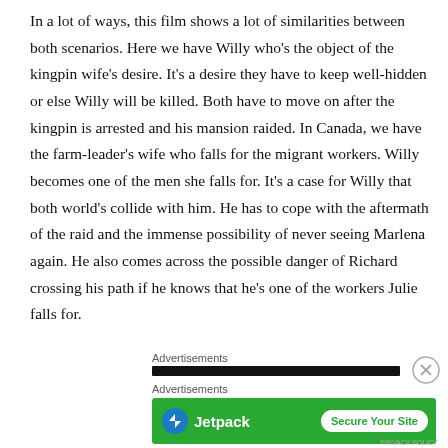In a lot of ways, this film shows a lot of similarities between both scenarios. Here we have Willy who's the object of the kingpin wife's desire. It's a desire they have to keep well-hidden or else Willy will be killed. Both have to move on after the kingpin is arrested and his mansion raided. In Canada, we have the farm-leader's wife who falls for the migrant workers. Willy becomes one of the men she falls for. It's a case for Willy that both world's collide with him. He has to cope with the aftermath of the raid and the immense possibility of never seeing Marlena again. He also comes across the possible danger of Richard crossing his path if he knows that he's one of the workers Julie falls for.
Advertisements
Advertisements
[Figure (screenshot): Jetpack advertisement banner with green background showing Jetpack logo and 'Secure Your Site' button]